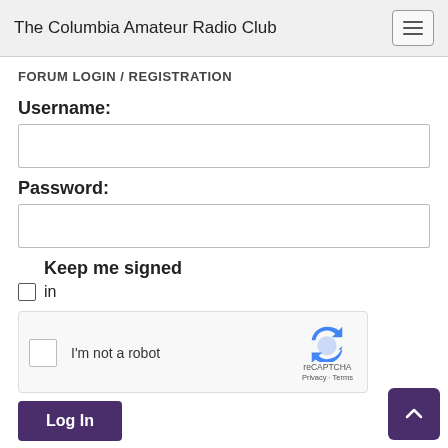The Columbia Amateur Radio Club
FORUM LOGIN / REGISTRATION
Username:
Password:
Keep me signed in
[Figure (screenshot): reCAPTCHA widget with checkbox and 'I'm not a robot' text, reCAPTCHA logo, Privacy and Terms links]
Log In